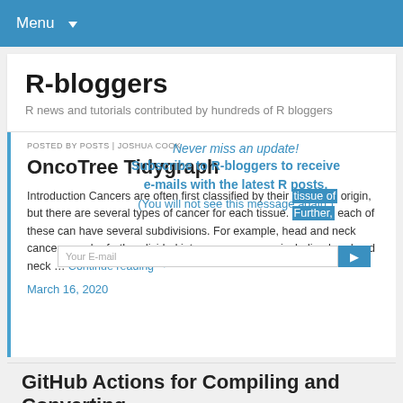Menu
R-bloggers
R news and tutorials contributed by hundreds of R bloggers
POSTED BY POSTS | JOSHUA COOK
OncoTree Tidygraph
Introduction Cancers are often first classified by their tissue of origin, but there are several types of cancer for each tissue. Further, each of these can have several subdivisions. For example, head and neck cancers can be further divided into seven cancers, including head and neck … Continue reading →
March 16, 2020
GitHub Actions for Compiling and Converting